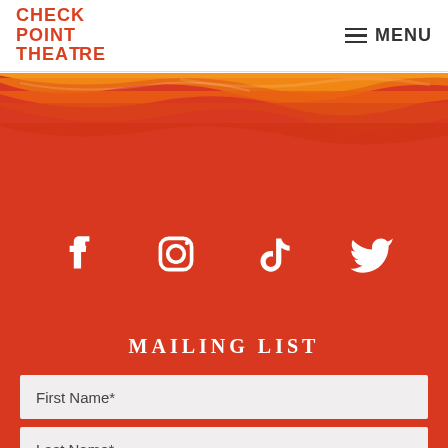[Figure (logo): Checkpoint Theatre logo in red/orange with bold uppercase text]
MENU
[Figure (illustration): Red and orange abstract brushstroke background covering the lower two-thirds of the page]
[Figure (infographic): Four white social media icons: Facebook, Instagram, TikTok, Twitter on red background]
MAILING LIST
First Name*
Last Name*